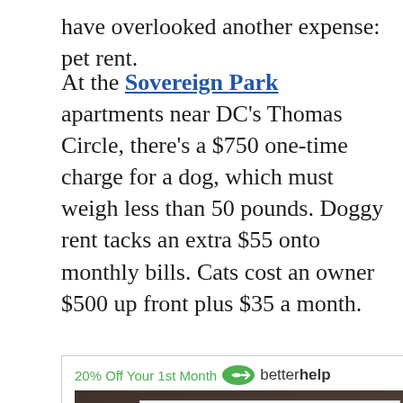have overlooked another expense: pet rent.
At the Sovereign Park apartments near DC’s Thomas Circle, there’s a $750 one-time charge for a dog, which must weigh less than 50 pounds. Doggy rent tacks an extra $55 onto monthly bills. Cats cost an owner $500 up front plus $35 a month.
[Figure (other): BetterHelp advertisement banner showing '20% Off Your 1st Month' with betterhelp logo and a photo of a person]